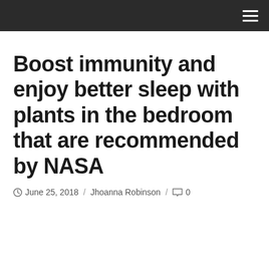Boost immunity and enjoy better sleep with plants in the bedroom that are recommended by NASA
June 25, 2018 / Jhoanna Robinson / 0